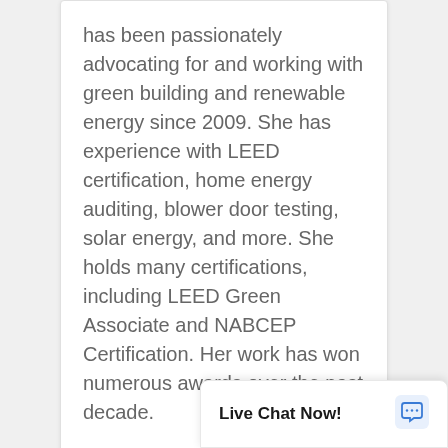has been passionately advocating for and working with green building and renewable energy since 2009. She has experience with LEED certification, home energy auditing, blower door testing, solar energy, and more. She holds many certifications, including LEED Green Associate and NABCEP Certification. Her work has won numerous awards over the past decade.
Join Our Email List
HTML
Sign up to receive news about the courses that interest you!
[Figure (other): Live Chat Now! button bar with chat icon]